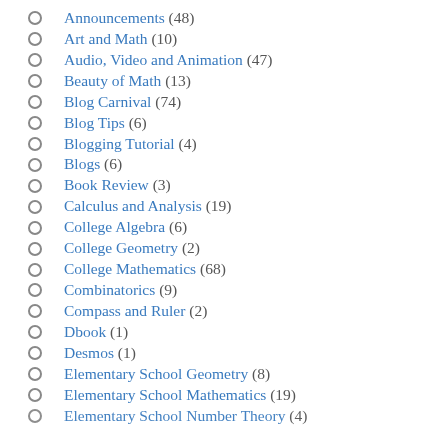Announcements (48)
Art and Math (10)
Audio, Video and Animation (47)
Beauty of Math (13)
Blog Carnival (74)
Blog Tips (6)
Blogging Tutorial (4)
Blogs (6)
Book Review (3)
Calculus and Analysis (19)
College Algebra (6)
College Geometry (2)
College Mathematics (68)
Combinatorics (9)
Compass and Ruler (2)
Dbook (1)
Desmos (1)
Elementary School Geometry (8)
Elementary School Mathematics (19)
Elementary School Number Theory (4)